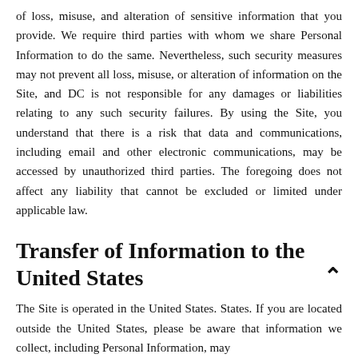of loss, misuse, and alteration of sensitive information that you provide. We require third parties with whom we share Personal Information to do the same. Nevertheless, such security measures may not prevent all loss, misuse, or alteration of information on the Site, and DC is not responsible for any damages or liabilities relating to any such security failures. By using the Site, you understand that there is a risk that data and communications, including email and other electronic communications, may be accessed by unauthorized third parties. The foregoing does not affect any liability that cannot be excluded or limited under applicable law.
Transfer of Information to the United States
The Site is operated in the United States. States. If you are located outside the United States, please be aware that information we collect, including Personal Information, may